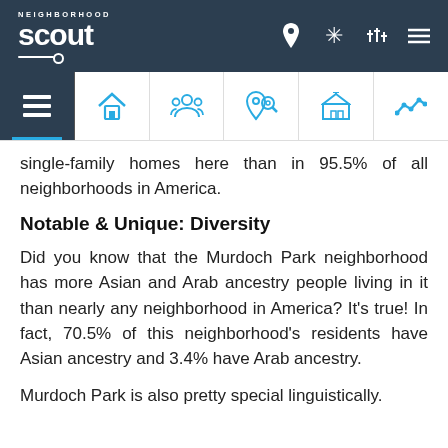Neighborhood Scout
[Figure (screenshot): Navigation icon bar with 6 category icons: overview (active, dark background), home, people, crime pin, school/government building, and analytics line chart icons in blue]
single-family homes here than in 95.5% of all neighborhoods in America.
Notable & Unique: Diversity
Did you know that the Murdoch Park neighborhood has more Asian and Arab ancestry people living in it than nearly any neighborhood in America? It's true! In fact, 70.5% of this neighborhood's residents have Asian ancestry and 3.4% have Arab ancestry.
Murdoch Park is also pretty special linguistically.